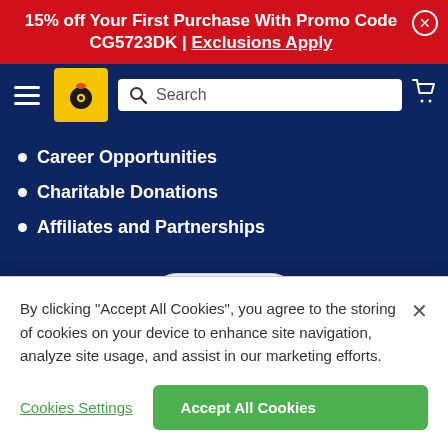15% off Your First Purchase With Promo Code CG5723DK | Exclusions Apply
[Figure (screenshot): Dark blue navigation bar with hamburger menu, yellow logo icon with car/wheel graphic, white search bar with magnifying glass and 'Search' placeholder text, and shopping cart icon on the right.]
Career Opportunities
Charitable Donations
Affiliates and Partnerships
[Figure (logo): Payments Secured badge with green padlock icon, text 'PAYMENTS SECURED' and 'by Braintree' below]
By clicking "Accept All Cookies", you agree to the storing of cookies on your device to enhance site navigation, analyze site usage, and assist in our marketing efforts.
Cookies Settings
Accept All Cookies